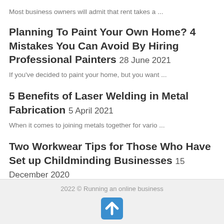Most business owners will admit that rent takes a ...
Planning To Paint Your Own Home? 4 Mistakes You Can Avoid By Hiring Professional Painters 28 June 2021
If you've decided to paint your home, but you want ...
5 Benefits of Laser Welding in Metal Fabrication 5 April 2021
When it comes to joining metals together for vario ...
Two Workwear Tips for Those Who Have Set up Childminding Businesses 15 December 2020
If you've set up a childminding business and are n ...
2022 © Running an online business